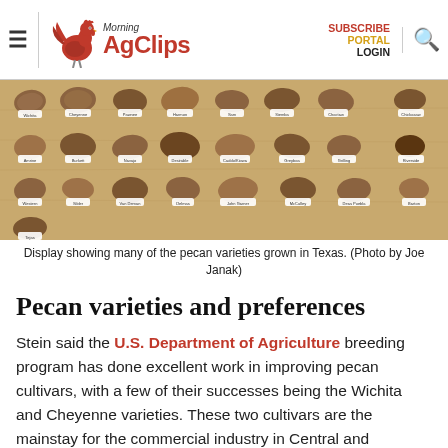Morning AgClips — SUBSCRIBE PORTAL LOGIN
[Figure (photo): Display showing many pecan varieties laid out in rows on a wooden board, each labeled with small paper tags showing variety names.]
Display showing many of the pecan varieties grown in Texas. (Photo by Joe Janak)
Pecan varieties and preferences
Stein said the U.S. Department of Agriculture breeding program has done excellent work in improving pecan cultivars, with a few of their successes being the Wichita and Cheyenne varieties. These two cultivars are the mainstay for the commercial industry in Central and